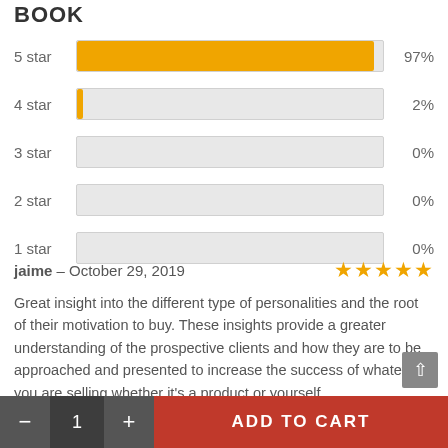BOOK
[Figure (bar-chart): Star ratings distribution]
jaime – October 29, 2019
Great insight into the different type of personalities and the root of their motivation to buy. These insights provide a greater understanding of the prospective clients and how they are to be approached and presented to increase the success of whatever you are selling whether it's a product or yourself.
Was this review helpful to you? Yes No
- 1 + ADD TO CART